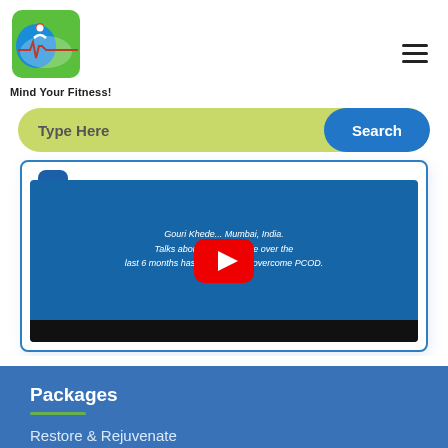[Figure (logo): Mind Your Fitness logo - green and blue square logo with a figure, ECG line, and red dot]
Mind Your Fitness!
[Figure (other): Hamburger menu icon (three horizontal lines)]
[Figure (other): Search bar with light green/yellow-green background pill shape, text 'Type Here' and blue 'Search' button on right]
[Figure (screenshot): YouTube video thumbnail embedded in a blue-bordered card. Blue background with white italic text: 'Gouri Khede... Mumbai, India. Talks about how guidance over the last 6 months has helped her to overcome PCOD.' Red YouTube play button in center. Black bar at bottom.]
Packages
Restore & Rejuvenate